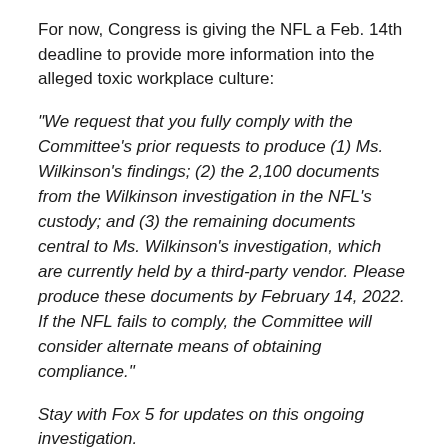For now, Congress is giving the NFL a Feb. 14th deadline to provide more information into the alleged toxic workplace culture:
"We request that you fully comply with the Committee’s prior requests to produce (1) Ms. Wilkinson’s findings; (2) the 2,100 documents from the Wilkinson investigation in the NFL’s custody; and (3) the remaining documents central to Ms. Wilkinson’s investigation, which are currently held by a third-party vendor. Please produce these documents by February 14, 2022. If the NFL fails to comply, the Committee will consider alternate means of obtaining compliance."
Stay with Fox 5 for updates on this ongoing investigation.